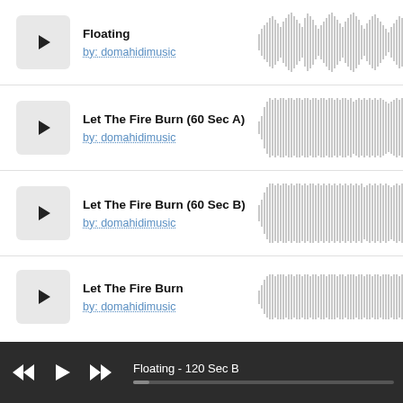[Figure (screenshot): Music player interface showing track list with waveforms. Track 1: Floating by domahidimusic. Track 2: Let The Fire Burn (60 Sec A) by domahidimusic. Track 3: Let The Fire Burn (60 Sec B) by domahidimusic. Track 4 (partial): Let The Fire Burn by domahidimusic. Player bar at bottom showing Floating - 120 Sec B.]